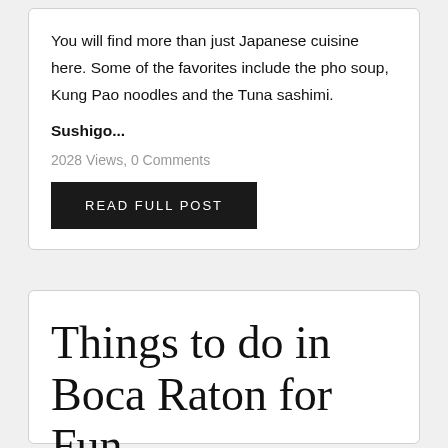You will find more than just Japanese cuisine here. Some of the favorites include the pho soup, Kung Pao noodles and the Tuna sashimi.
Sushigo...
2028 Views, 0 Comments
READ FULL POST
Things to do in Boca Raton for Fun